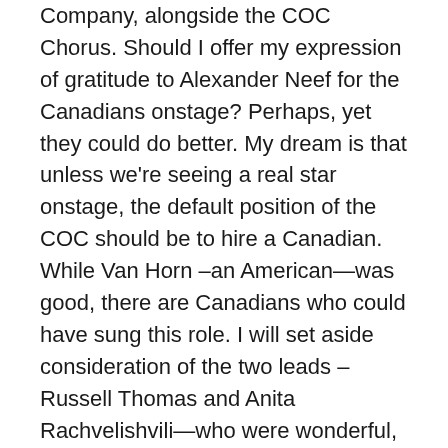Company, alongside the COC Chorus. Should I offer my expression of gratitude to Alexander Neef for the Canadians onstage? Perhaps, yet they could do better. My dream is that unless we're seeing a real star onstage, the default position of the COC should be to hire a Canadian. While Van Horn –an American—was good, there are Canadians who could have sung this role. I will set aside consideration of the two leads – Russell Thomas and Anita Rachvelishvili—who were wonderful, even if there may be Canadians who can undertake the starring roles. Both of the women playing Micaëla (today's Simone Osborne, and Karine Boucher in the other cast) are Canadian, as is David Pomeroy the Don José in the other cast.
Paolo Carignani led a brisk and energetic reading of the score (the way I like it). And as I have mentioned, a whole different cast takes the stage April 20th who may offer a